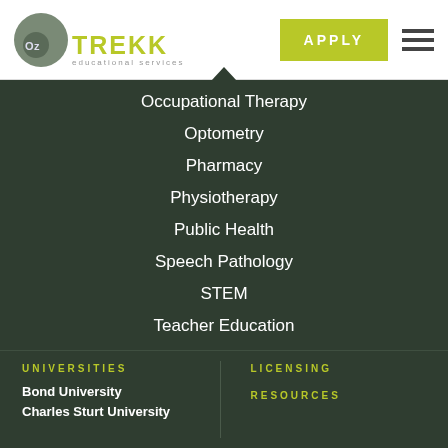[Figure (logo): OzTREKK educational services logo with circular grey icon and yellow-green TREKK text]
Occupational Therapy
Optometry
Pharmacy
Physiotherapy
Public Health
Speech Pathology
STEM
Teacher Education
Veterinary Medicine
UNIVERSITIES
LICENSING
Bond University
RESOURCES
Charles Sturt University